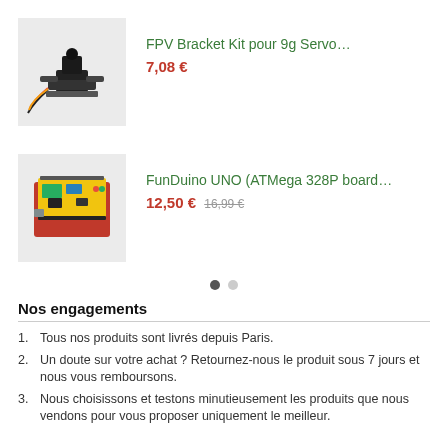[Figure (photo): FPV bracket kit product image showing a camera mount with servo, black mechanical parts with wires on a light grey background]
FPV Bracket Kit pour 9g Servo…
7,08 €
[Figure (photo): FunDuino UNO ATMega 328P board product image showing a red and yellow Arduino-compatible board on a light grey background]
FunDuino UNO (ATMega 328P board…
12,50 € 16,99 €
Nos engagements
Tous nos produits sont livrés depuis Paris.
Un doute sur votre achat ? Retournez-nous le produit sous 7 jours et nous vous remboursons.
Nous choisissons et testons minutieusement les produits que nous vendons pour vous proposer uniquement le meilleur.